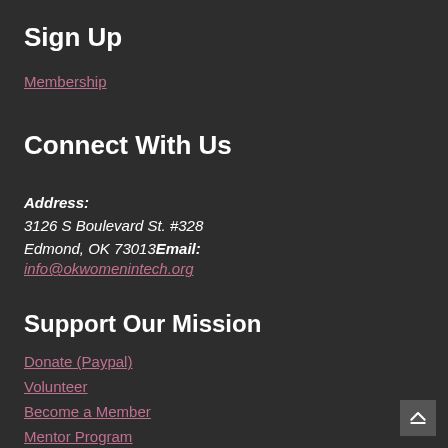Sign Up
Membership
Connect With Us
Address: 3126 S Boulevard St. #328 Edmond, OK 73013 Email: info@okwomenintech.org
Support Our Mission
Donate (Paypal)
Volunteer
Become a Member
Mentor Program
Become a Partner